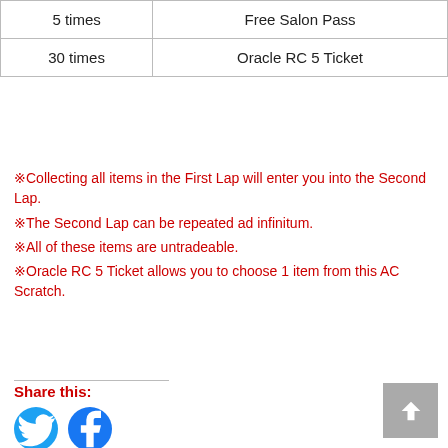| 5 times | Free Salon Pass |
| 30 times | Oracle RC 5 Ticket |
※Collecting all items in the First Lap will enter you into the Second Lap.
※The Second Lap can be repeated ad infinitum.
※All of these items are untradeable.
※Oracle RC 5 Ticket allows you to choose 1 item from this AC Scratch.
Share this:
[Figure (illustration): Twitter and Facebook social share icons (circular blue buttons with bird and f logos)]